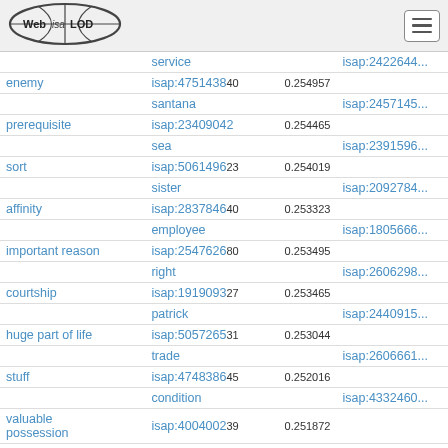Web isa LOD — navigation header
| concept | isap id | score | related isap |
| --- | --- | --- | --- |
|  | service |  | isap:2422644... |
| enemy | isap:47514384... | 0.254957 |  |
|  | santana |  | isap:2457145... |
| prerequisite | isap:23409042 | 0.254465 |  |
|  | sea |  | isap:2391596... |
| sort | isap:50614962... | 0.254019 |  |
|  | sister |  | isap:2092784... |
| affinity | isap:28378464... | 0.253323 |  |
|  | employee |  | isap:1805666... |
| important reason | isap:25476268... | 0.253495 |  |
|  | right |  | isap:2606298... |
| courtship | isap:19190932... | 0.253465 |  |
|  | patrick |  | isap:2440915... |
| huge part of life | isap:50572653... | 0.253044 |  |
|  | trade |  | isap:2606661... |
| stuff | isap:47483864... | 0.252016 |  |
|  | condition |  | isap:4332460... |
| valuable possession | isap:40040023... | 0.251872 |  |
|  | vocation |  | isap:1808667... |
| add blessing | isap:283354745 su... | 0.251679 | isap:2119670... |